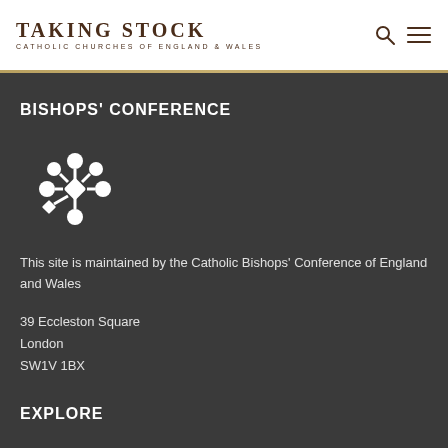TAKING STOCK
CATHOLIC CHURCHES OF ENGLAND & WALES
BISHOPS' CONFERENCE
[Figure (illustration): A decorative cross/snowflake shaped icon made of small diamond and circular shapes arranged symmetrically, white on dark background]
This site is maintained by the Catholic Bishops' Conference of England and Wales
39 Eccleston Square
London
SW1V 1BX
EXPLORE